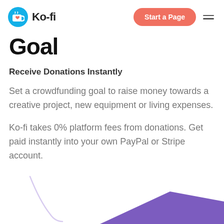Ko-fi | Start a Page
Goal
Receive Donations Instantly
Set a crowdfunding goal to raise money towards a creative project, new equipment or living expenses.
Ko-fi takes 0% platform fees from donations. Get paid instantly into your own PayPal or Stripe account.
[Figure (illustration): Partial bottom illustration showing a curved white line and a purple triangular shape against a white background]